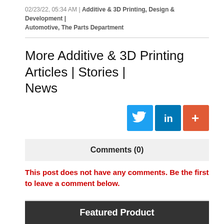02/23/22, 05:34 AM | Additive & 3D Printing, Design & Development | Automotive, The Parts Department
More Additive & 3D Printing Articles | Stories | News
[Figure (other): Social share buttons: Twitter (blue bird icon), LinkedIn (blue 'in'), and an orange plus button]
Comments (0)
This post does not have any comments. Be the first to leave a comment below.
Post A Comment
You must be logged in before you can post a comment. Login now.
Featured Product